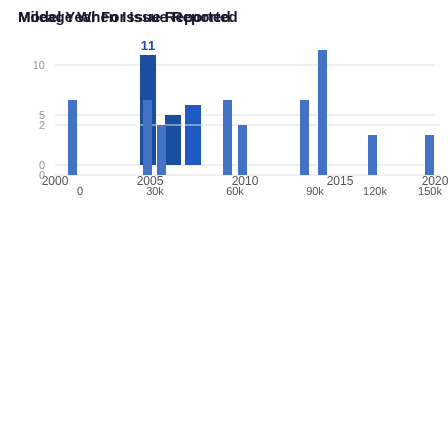[Figure (bar-chart): Model Year For Issue Reported]
[Figure (bar-chart): Mileage When Issue Reported]